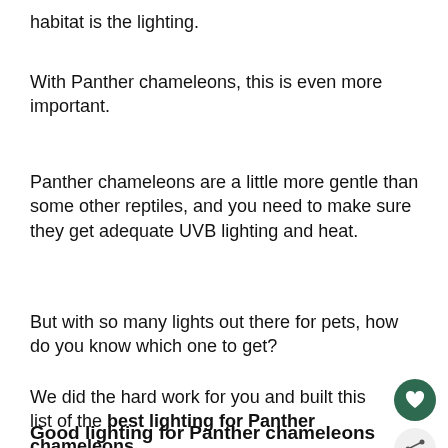habitat is the lighting.
With Panther chameleons, this is even more important.
Panther chameleons are a little more gentle than some other reptiles, and you need to make sure they get adequate UVB lighting and heat.
But with so many lights out there for pets, how do you know which one to get?
We did the hard work for you and built this list of the best lighting for Panther chameleons.
Good lighting for Panther chameleons